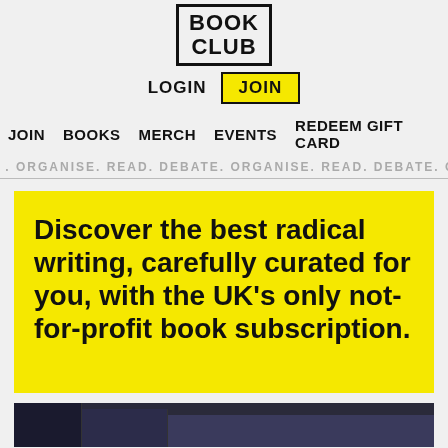[Figure (logo): Book Club logo in a bordered box, bold uppercase text]
LOGIN  JOIN
JOIN  BOOKS  MERCH  EVENTS  REDEEM GIFT CARD
. ORGANISE. READ. DEBATE. ORGANISE. READ. DEBATE. O
Discover the best radical writing, carefully curated for you, with the UK's only not-for-profit book subscription.
[Figure (photo): Dark navy book covers partially visible at bottom of page]